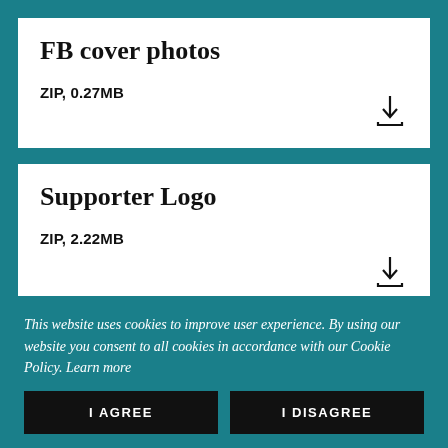FB cover photos
ZIP, 0.27MB
Supporter Logo
ZIP, 2.22MB
This website uses cookies to improve user experience. By using our website you consent to all cookies in accordance with our Cookie Policy. Learn more
I AGREE
I DISAGREE